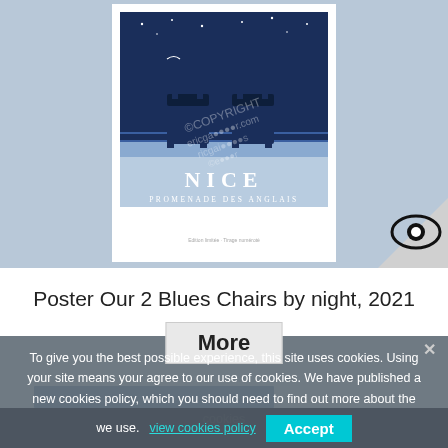[Figure (photo): A product photo of an art poster titled 'NICE PROMENADE DES ANGLAIS' showing two blue chairs on a boardwalk at night, displayed against a light blue background. The poster is in portrait orientation with a watermark overlay. A corner fold and eye icon are visible on the right side.]
Poster Our 2 Blues Chairs by night, 2021
More
To give you the best possible experience, this site uses cookies. Using your site means your agree to our use of cookies. We have published a new cookies policy, which you should need to find out more about the cookies
we use. view cookies policy
Accept